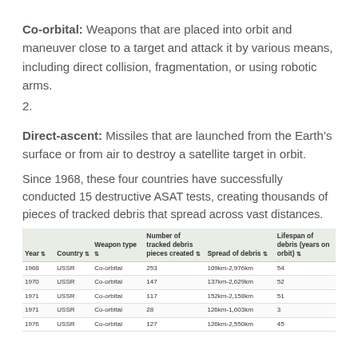Co-orbital: Weapons that are placed into orbit and maneuver close to a target and attack it by various means, including direct collision, fragmentation, or using robotic arms.
2.
Direct-ascent: Missiles that are launched from the Earth’s surface or from air to destroy a satellite target in orbit.
Since 1968, these four countries have successfully conducted 15 destructive ASAT tests, creating thousands of pieces of tracked debris that spread across vast distances.
| Year | Country | Weapon type | Number of tracked debris pieces created | Spread of debris | Lifespan of debris (years on orbit) |
| --- | --- | --- | --- | --- | --- |
| 1968 | USSR | Co-orbital | 253 | 109km-2,976km | 54 |
| 1970 | USSR | Co-orbital | 147 | 137km-2,629km | 52 |
| 1971 | USSR | Co-orbital | 117 | 152km-2,158km | 51 |
| 1971 | USSR | Co-orbital | 28 | 126km-1,603km | 3 |
| 1976 | USSR | Co-orbital | 127 | 126km-2,550km | 45 |